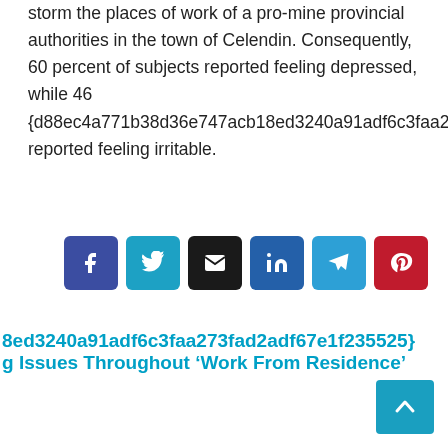storm the places of work of a pro-mine provincial authorities in the town of Celendin. Consequently, 60 percent of subjects reported feeling depressed, while 46 {d88ec4a771b38d36e747acb18ed3240a91adf6c3faa273fad2adf67e1f235525} reported feeling irritable.
[Figure (other): Social media share buttons: Facebook, Twitter, Email, LinkedIn, Telegram, Pinterest]
8ed3240a91adf6c3faa273fad2adf67e1f235525} g Issues Throughout ‘Work From Residence’